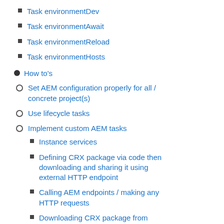Task environmentDev
Task environmentAwait
Task environmentReload
Task environmentHosts
How to's
Set AEM configuration properly for all / concrete project(s)
Use lifecycle tasks
Implement custom AEM tasks
Instance services
Defining CRX package via code then downloading and sharing it using external HTTP endpoint
Calling AEM endpoints / making any HTTP requests
Downloading CRX package from external HTTP endpoint and deploying